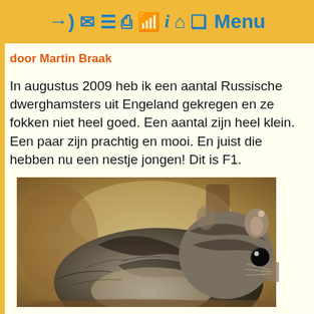Menu
door Martin Braak
In augustus 2009 heb ik een aantal Russische dwerghamsters uit Engeland gekregen en ze fokken niet heel goed. Een aantal zijn heel klein. Een paar zijn prachtig en mooi. En juist die hebben nu een nestje jongen! Dit is F1.
[Figure (photo): Close-up photograph of a Russian dwarf hamster with dark striped fur, looking toward the camera against a blurred background.]